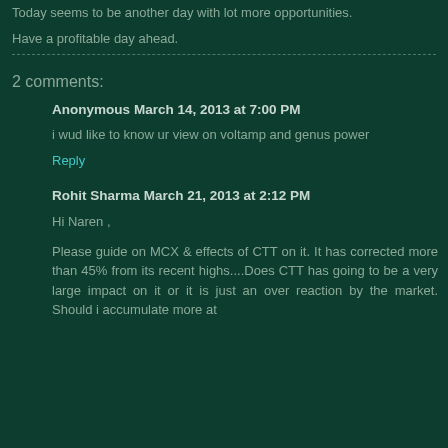Today seems to be another day with lot more opportunities.
Have a profitable day ahead.
2 comments:
Anonymous March 14, 2013 at 7:00 PM
i wud like to know ur view on voltamp and genus power
Reply
Rohit Sharma March 21, 2013 at 2:12 PM
Hi Naren ,
Please guide on MCX & effects of CTT on it. It has corrected more than 45% from its recent highs....Does CTT has going to be a very large impact on it or it is just an over reaction by the market. Should i accumulate more at